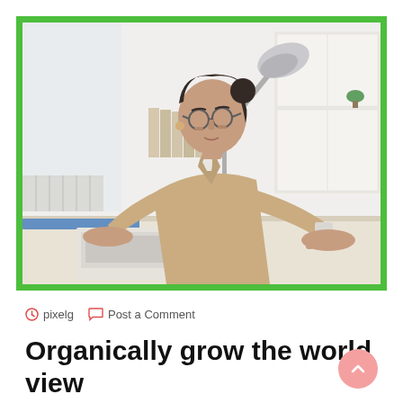[Figure (photo): Woman in beige blazer and glasses leaning forward working on a laptop at a desk, with a silver desk lamp behind her. Office setting with white shelving/cabinets in background. Green border around the photo.]
pixelg   Post a Comment
Organically grow the world view